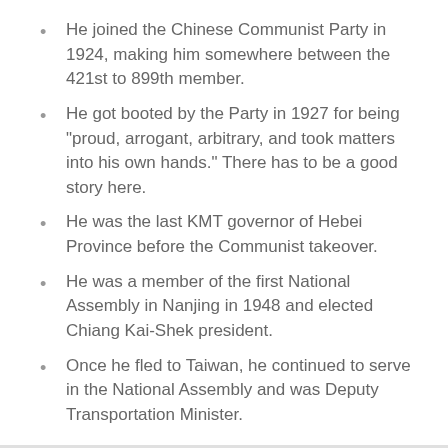He joined the Chinese Communist Party in 1924, making him somewhere between the 421st to 899th member.
He got booted by the Party in 1927 for being "proud, arrogant, arbitrary, and took matters into his own hands." There has to be a good story here.
He was the last KMT governor of Hebei Province before the Communist takeover.
He was a member of the first National Assembly in Nanjing in 1948 and elected Chiang Kai-Shek president.
Once he fled to Taiwan, he continued to serve in the National Assembly and was Deputy Transportation Minister.
I find it funny that when I lived with him, we got around almost exclusively by bus. Very proletarian.